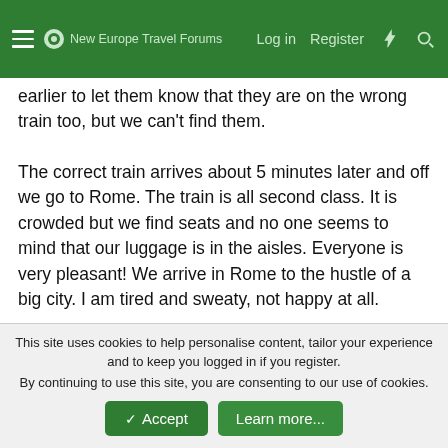New Europe Travel Forums — Log in   Register
earlier to let them know that they are on the wrong train too, but we can't find them.
The correct train arrives about 5 minutes later and off we go to Rome. The train is all second class. It is crowded but we find seats and no one seems to mind that our luggage is in the aisles. Everyone is very pleasant! We arrive in Rome to the hustle of a big city. I am tired and sweaty, not happy at all.
We walk to our hotel, passing the homeless and slabs of beef on the street, it's disgusting. We finally find our hotel; it is seedy looking but I tell Anthony I'll give it a try. It is called Hotel Akragas (via del Viminale 8). We fondly refer to it as Hotel Crack-Ass. I feel like I'm in a youth hostel. But, the room is big, has enormously high ceilings and is clean (a friend of Anthony's
This site uses cookies to help personalise content, tailor your experience and to keep you logged in if you register.
By continuing to use this site, you are consenting to our use of cookies.